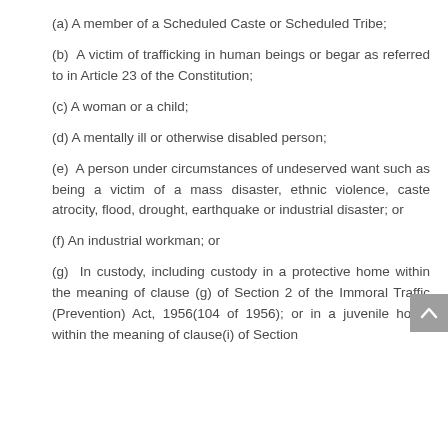(a) A member of a Scheduled Caste or Scheduled Tribe;
(b) A victim of trafficking in human beings or begar as referred to in Article 23 of the Constitution;
(c) A woman or a child;
(d) A mentally ill or otherwise disabled person;
(e) A person under circumstances of undeserved want such as being a victim of a mass disaster, ethnic violence, caste atrocity, flood, drought, earthquake or industrial disaster; or
(f) An industrial workman; or
(g) In custody, including custody in a protective home within the meaning of clause (g) of Section 2 of the Immoral Traffic (Prevention) Act, 1956(104 of 1956); or in a juvenile home within the meaning of clause(i) of Section